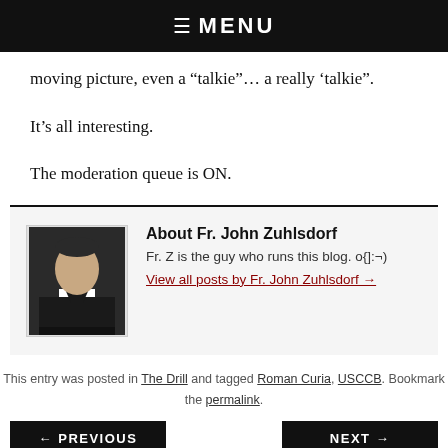☰ MENU
moving picture, even a “talkie”… a really ‘talkie”.
It’s all interesting.
The moderation queue is ON.
[Figure (photo): Author photo of Fr. John Zuhlsdorf, showing a priest in black clerical clothing with white collar]
About Fr. John Zuhlsdorf
Fr. Z is the guy who runs this blog. o{]:-)
View all posts by Fr. John Zuhlsdorf →
This entry was posted in The Drill and tagged Roman Curia, USCCB. Bookmark the permalink.
← PREVIOUS
ASK FATHER: Will SSPX priests be
NEXT →
NOW AVAILABLE! Safe-Space